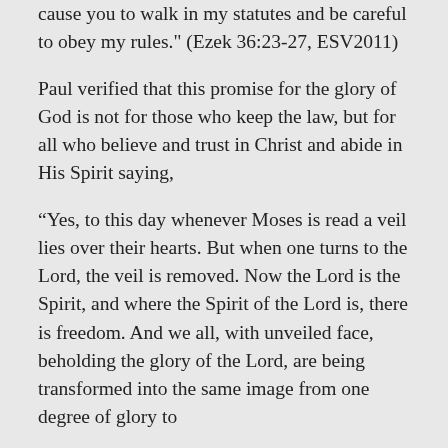cause you to walk in my statutes and be careful to obey my rules." (Ezek 36:23-27, ESV2011)
Paul verified that this promise for the glory of God is not for those who keep the law, but for all who believe and trust in Christ and abide in His Spirit saying,
“Yes, to this day whenever Moses is read a veil lies over their hearts. But when one turns to the Lord, the veil is removed. Now the Lord is the Spirit, and where the Spirit of the Lord is, there is freedom. And we all, with unveiled face, beholding the glory of the Lord, are being transformed into the same image from one degree of glory to